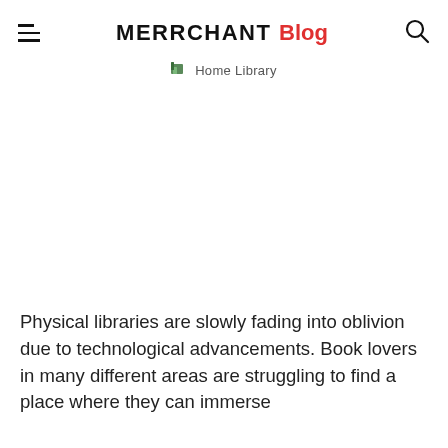MERRCHANT Blog
Home Library
[Figure (photo): Hero image area for Home Library blog post (appears blank/white in this view)]
Physical libraries are slowly fading into oblivion due to technological advancements. Book lovers in many different areas are struggling to find a place where they can immerse